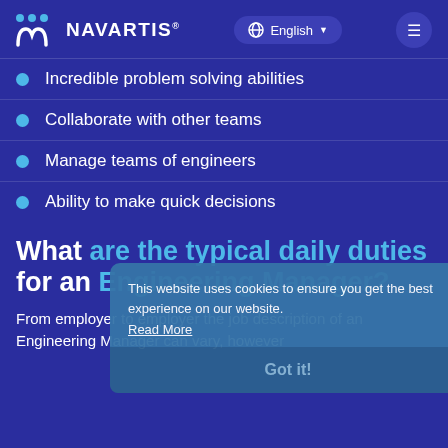Navartis — English navigation bar with globe icon and menu
Incredible problem solving abilities
Collaborate with other teams
Manage teams of engineers
Ability to make quick decisions
What are the typical daily duties for an Engineering Manager?
From employer to employer the job description of an Engineering Manager can vary, however
This website uses cookies to ensure you get the best experience on our website.
Read More
Got it!